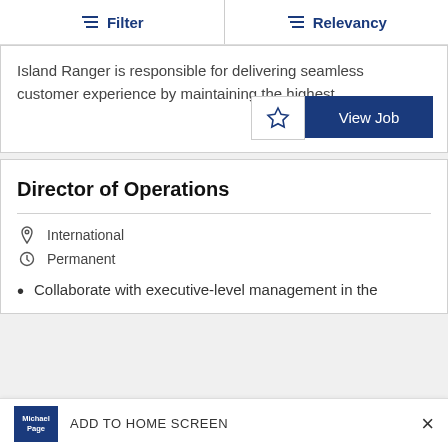Filter | Relevancy
Island Ranger is responsible for delivering seamless customer experience by maintaining the highest
Director of Operations
International
Permanent
Collaborate with executive-level management in the
ADD TO HOME SCREEN